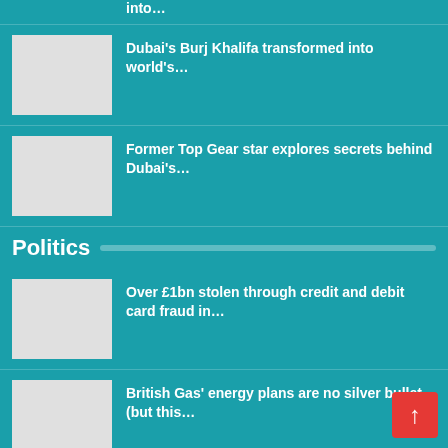into…
[Figure (photo): Thumbnail image placeholder for Burj Khalifa article]
Dubai's Burj Khalifa transformed into world's…
[Figure (photo): Thumbnail image placeholder for Top Gear article]
Former Top Gear star explores secrets behind Dubai's…
Politics
[Figure (photo): Thumbnail image placeholder for credit card fraud article]
Over £1bn stolen through credit and debit card fraud in…
[Figure (photo): Thumbnail image placeholder for British Gas article]
British Gas' energy plans are no silver bullet (but this…